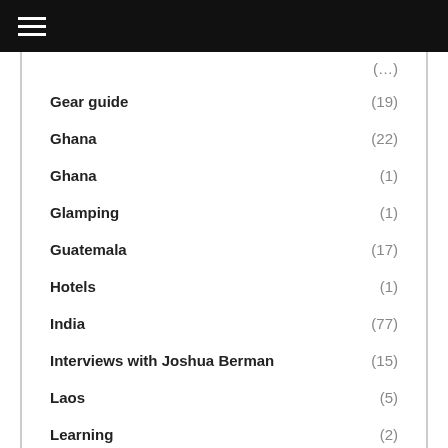Gear guide (19)
Ghana (22)
Ghana (1)
Glamping (1)
Guatemala (17)
Hotels (1)
India (77)
Interviews with Joshua Berman (15)
Laos (5)
Learning (2)